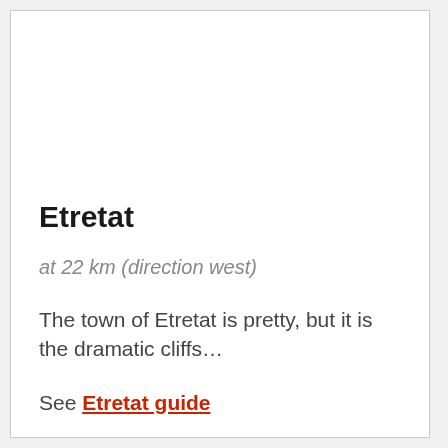Etretat
at 22 km (direction west)
The town of Etretat is pretty, but it is the dramatic cliffs...
See Etretat guide